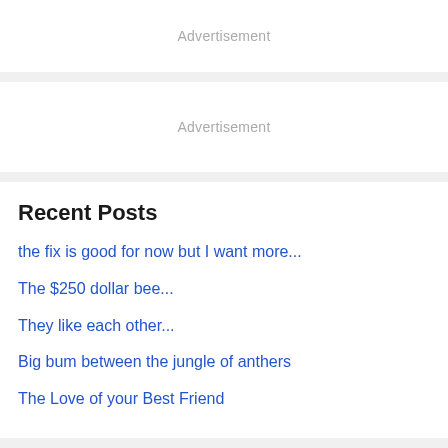Advertisement
Advertisement
Recent Posts
the fix is good for now but I want more...
The $250 dollar bee...
They like each other...
Big bum between the jungle of anthers
The Love of your Best Friend